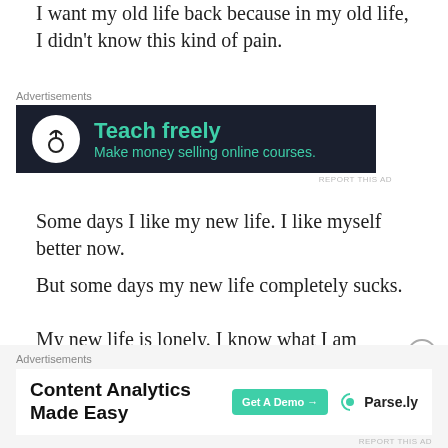I want my old life back because in my old life, I didn't know this kind of pain.
[Figure (other): Advertisement banner: dark background with bonsai tree icon, 'Teach freely' in teal, 'Make money selling online courses.' in teal smaller text. Label 'Advertisements' above.]
Some days I like my new life.  I like myself better now.
But some days my new life completely sucks.
My new life is lonely.  I know what I am missing.
Before I met Bryon, I felt like I was waiting for my real life to begin. Then I got my real life and was always
[Figure (other): Advertisement banner: white background with 'Content Analytics Made Easy' in bold black, 'Get A Demo →' green button, Parse.ly logo. Label 'Advertisements' above.]